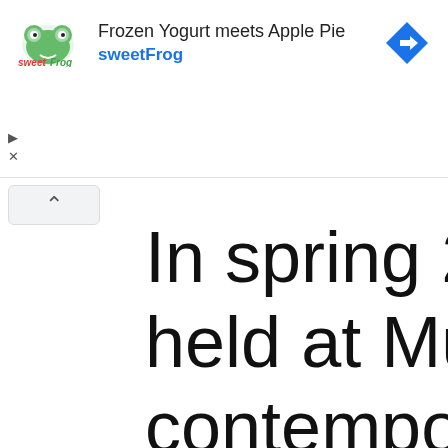[Figure (screenshot): sweetFrog frozen yogurt advertisement banner showing logo, text 'Frozen Yogurt meets Apple Pie', 'sweetFrog' in cyan, and a blue navigation arrow icon]
In spring 2022, held at Musée d contemporain d Méditerranée o publication will the occasion.